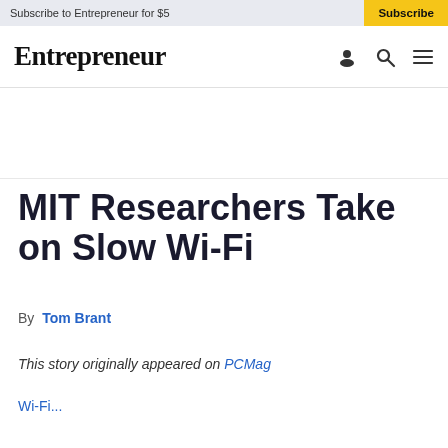Subscribe to Entrepreneur for $5  Subscribe
Entrepreneur
MIT Researchers Take on Slow Wi-Fi
By  Tom Brant
This story originally appeared on PCMag
Wi-Fi...